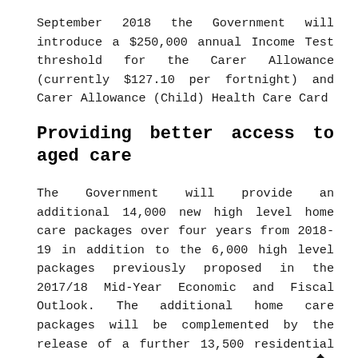September 2018 the Government will introduce a $250,000 annual Income Test threshold for the Carer Allowance (currently $127.10 per fortnight) and Carer Allowance (Child) Health Care Card
Providing better access to aged care
The Government will provide an additional 14,000 new high level home care packages over four years from 2018-19 in addition to the 6,000 high level packages previously proposed in the 2017/18 Mid-Year Economic and Fiscal Outlook. The additional home care packages will be complemented by the release of a further 13,500 residential aged care places and 775 short term restorative care places. For further information regarding these proposed changes, speak to your